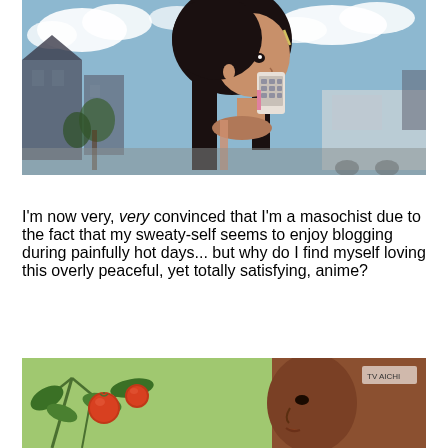[Figure (illustration): Anime screenshot showing a dark-haired girl holding a flip phone to her mouth, standing outdoors with blue cloudy sky, buildings and a white car in the background]
I'm now very, very convinced that I'm a masochist due to the fact that my sweaty-self seems to enjoy blogging during painfully hot days... but why do I find myself loving this overly peaceful, yet totally satisfying, anime?
[Figure (illustration): Anime screenshot showing a close-up of a dark-skinned character near tomato plants with red tomatoes]